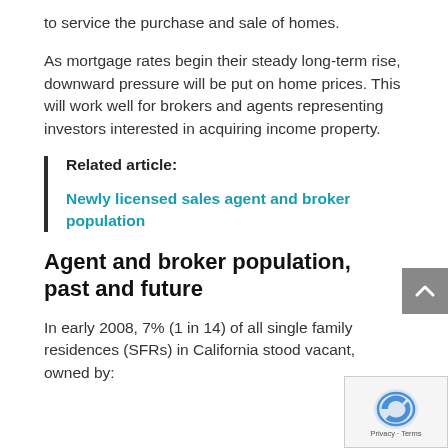to service the purchase and sale of homes.
As mortgage rates begin their steady long-term rise, downward pressure will be put on home prices. This will work well for brokers and agents representing investors interested in acquiring income property.
Related article:

Newly licensed sales agent and broker population
Agent and broker population, past and future
In early 2008, 7% (1 in 14) of all single family residences (SFRs) in California stood vacant, owned by: